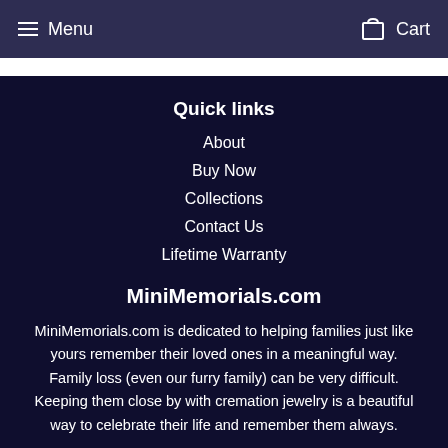Menu  Cart
Quick links
About
Buy Now
Collections
Contact Us
Lifetime Warranty
MiniMemorials.com
MiniMemorials.com is dedicated to helping families just like yours remember their loved ones in a meaningful way. Family loss (even our furry family) can be very difficult. Keeping them close by with cremation jewelry is a beautiful way to celebrate their life and remember them always.